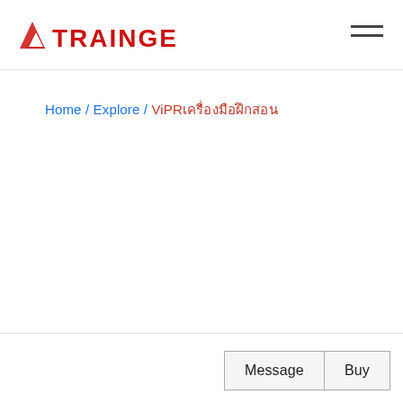TRAINGE logo and navigation menu
Home / Explore / ViPRเครื่องมือฝึกสอน
Message | Buy